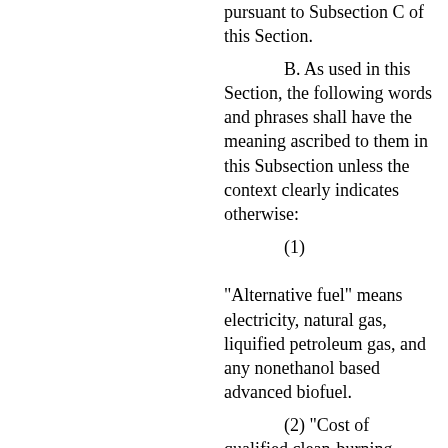pursuant to Subsection C of this Section.
B. As used in this Section, the following words and phrases shall have the meaning ascribed to them in this Subsection unless the context clearly indicates otherwise:
(1) "Alternative fuel" means electricity, natural gas, liquified petroleum gas, and any nonethanol based advanced biofuel.
(2) "Cost of qualified clean-burning motor vehicle fuel